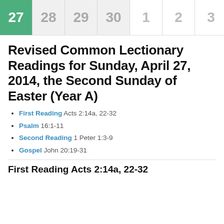27 28 29 30 1 2 3
Revised Common Lectionary Readings for Sunday, April 27, 2014, the Second Sunday of Easter (Year A)
First Reading Acts 2:14a, 22-32
Psalm 16:1-11
Second Reading 1 Peter 1:3-9
Gospel John 20:19-31
First Reading Acts 2:14a, 22-32